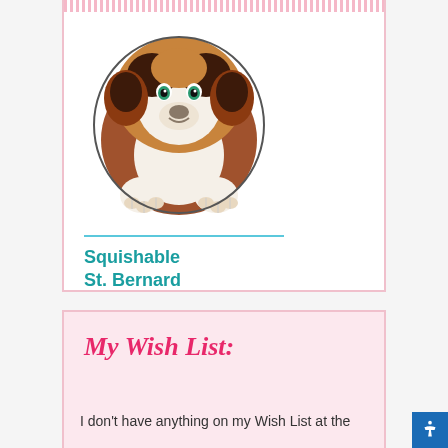[Figure (illustration): Illustration of a round, chubby St. Bernard puppy dog with brown and white fur, black face markings, and green eyes, shown from the front with paws visible]
Squishable St. Bernard
My Wish List:
I don't have anything on my Wish List at the